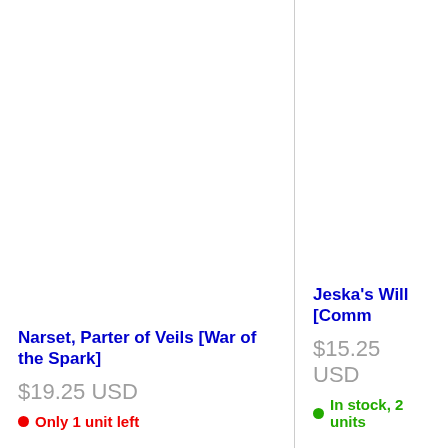Narset, Parter of Veils [War of the Spark]
$19.25 USD
Only 1 unit left
Jeska's Will [Comm
$15.25 USD
In stock, 2 units